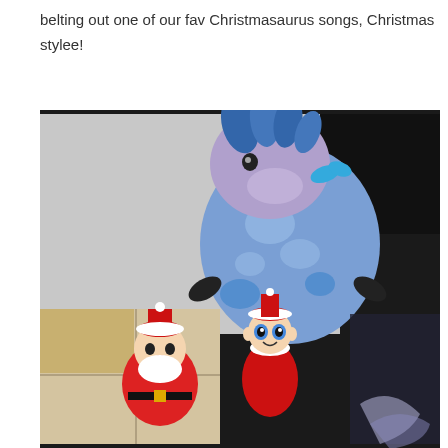belting out one of our fav Christmasaurus songs, Christmas stylee!
[Figure (photo): A blue Christmasaurus stuffed dinosaur toy sitting with an Elf on the Shelf doll and a small Santa Claus figure, arranged together against a tiled wall background.]